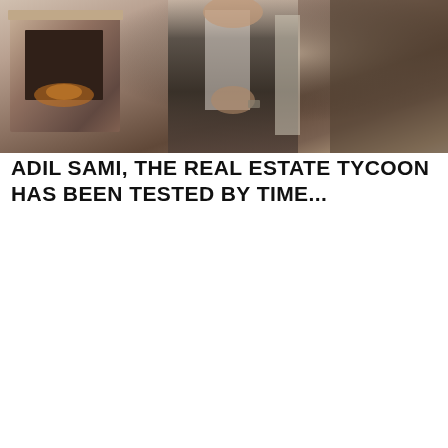[Figure (photo): A person in a suit standing in an interior room with a fireplace visible in the background. The man appears to be a business professional.]
ADIL SAMI, THE REAL ESTATE TYCOON HAS BEEN TESTED BY TIME...